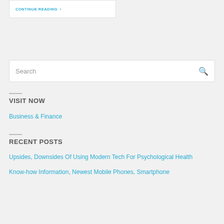CONTINUE READING >
Search
VISIT NOW
Business & Finance
RECENT POSTS
Upsides, Downsides Of Using Modern Tech For Psychological Health
Know-how Information, Newest Mobile Phones, Smartphone